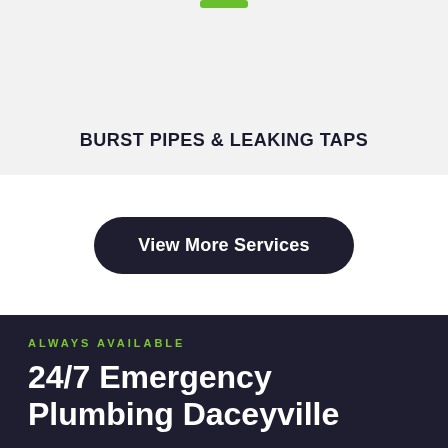BURST PIPES & LEAKING TAPS
View More Services
ALWAYS AVAILABLE
24/7 Emergency Plumbing Daceyville